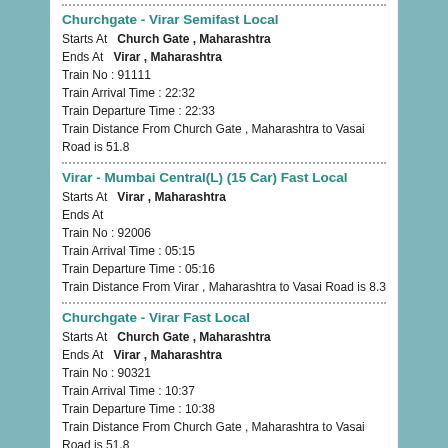Churchgate - Virar Semifast Local
Starts At  Church Gate , Maharashtra
Ends At  Virar , Maharashtra
Train No : 91111
Train Arrival Time : 22:32
Train Departure Time : 22:33
Train Distance From Church Gate , Maharashtra to Vasai Road is 51.8
Virar - Mumbai Central(L) (15 Car) Fast Local
Starts At  Virar , Maharashtra
Ends At
Train No : 92006
Train Arrival Time : 05:15
Train Departure Time : 05:16
Train Distance From Virar , Maharashtra to Vasai Road is 8.3
Churchgate - Virar Fast Local
Starts At  Church Gate , Maharashtra
Ends At  Virar , Maharashtra
Train No : 90321
Train Arrival Time : 10:37
Train Departure Time : 10:38
Train Distance From Church Gate , Maharashtra to Vasai Road is 51.8
Borivali - Virar Slow Local
Starts At  Borivali , Maharashtra